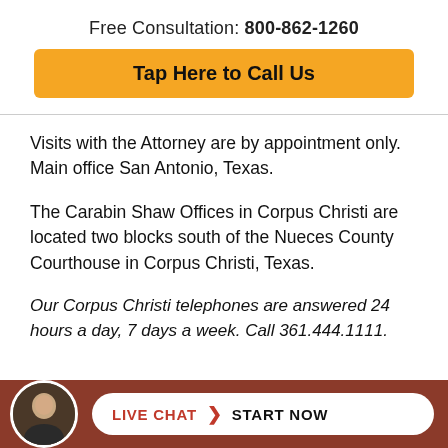Free Consultation: 800-862-1260
Tap Here to Call Us
Visits with the Attorney are by appointment only. Main office San Antonio, Texas.
The Carabin Shaw Offices in Corpus Christi are located two blocks south of the Nueces County Courthouse in Corpus Christi, Texas.
Our Corpus Christi telephones are answered 24 hours a day, 7 days a week. Call 361.444.1111.
[Figure (other): Footer bar with attorney avatar photo, LIVE CHAT > START NOW pill button on brown/rust background]